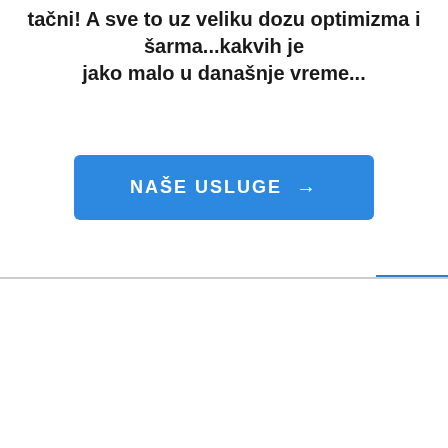tančni! A sve to uz veliku dozu optimizma i šarma...kakvih je jako malo u današnje vreme...
[Figure (other): Blue button labeled NAŠE USLUGE with arrow pointing right]
[Figure (other): Blue social media sidebar with Facebook and Instagram icons]